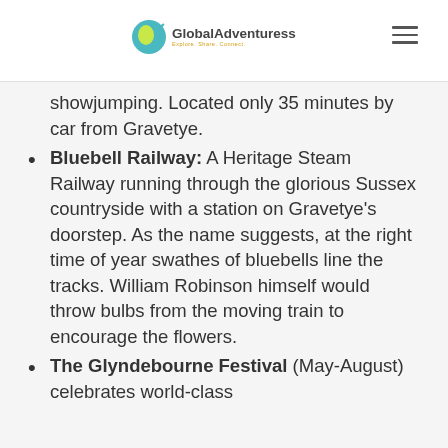Global Adventuress
showjumping. Located only 35 minutes by car from Gravetye.
Bluebell Railway: A Heritage Steam Railway running through the glorious Sussex countryside with a station on Gravetye's doorstep. As the name suggests, at the right time of year swathes of bluebells line the tracks. William Robinson himself would throw bulbs from the moving train to encourage the flowers.
The Glyndebourne Festival (May-August) celebrates world-class